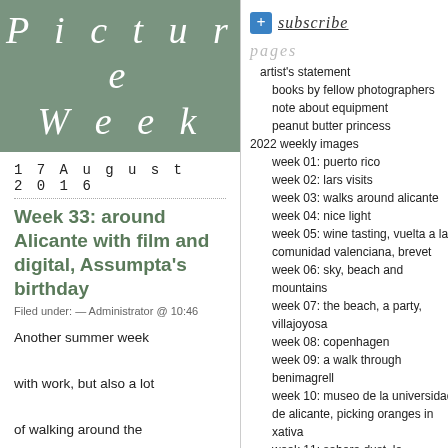Picture Week
17 August 2016
Week 33: around Alicante with film and digital, Assumpta's birthday
Filed under: — Administrator @ 10:46
Another summer week with work, but also a lot of walking around the
subscribe
pages
artist's statement
books by fellow photographers
note about equipment
peanut butter princess
2022 weekly images
week 01: puerto rico
week 02: lars visits
week 03: walks around alicante
week 04: nice light
week 05: wine tasting, vuelta a la comunidad valenciana, brevet
week 06: sky, beach and mountains
week 07: the beach, a party, villajoyosa
week 08: copenhagen
week 09: a walk through benimagrell
week 10: museo de la universidad de alicante, picking oranges in xativa
week 11: sahara dust, le